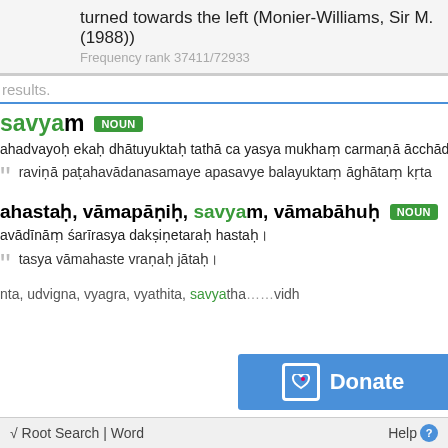turned towards the left (Monier-Williams, Sir M. (1988))
Frequency rank 37411/72933
results.
savyam NOUN
ahadvayoh ekah dhātuyuktah tathā ca yasya mukham carmanā ācchādi
ravinā patahavādanasamaye apasavye balayuktam āghātam krta
ahastah, vāmapānih, savyam, vāmabāhuh NOUN
avādīnām śarīrasya daksinetarah hastah।
tasya vāmahaste vranah jātah।
nta, udvigna, vyagra, vyathita, savyatha
√ Root Search | Word    Help